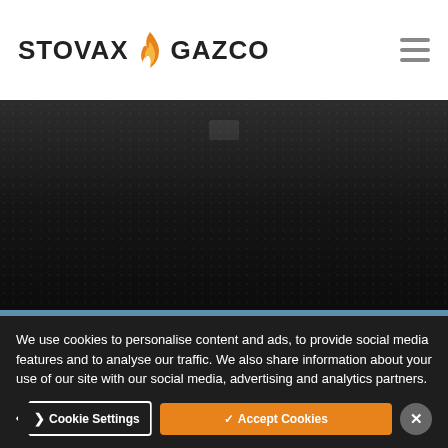STOVAX GAZCO
[Figure (photo): Dark photo of a gas stove fireplace interior, nearly black with subtle texture]
Dad felt left out after hearing about the competition so here is his #festivefireside with his Huntingdon 40 gas stove 🔥
ceri_ae
We use cookies to personalise content and ads, to provide social media features and to analyse our traffic. We also share information about your use of our site with our social media, advertising and analytics partners.
Cookie Settings
✓ Accept Cookies